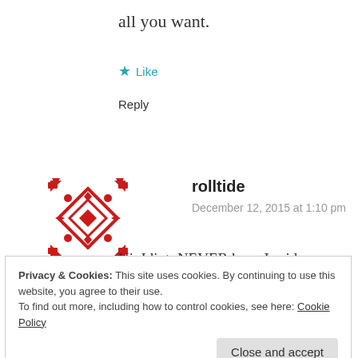all you want.
★ Like
Reply
[Figure (illustration): Red decorative pixel/cross-stitch style avatar icon for user rolltide]
rolltide
December 12, 2015 at 1:10 pm
Hi, Idiot, NEVER have I said you don't have the right to defend yourself, family and property. We ABSOLUTELY need to protect our
Privacy & Cookies: This site uses cookies. By continuing to use this website, you agree to their use.
To find out more, including how to control cookies, see here: Cookie Policy
Close and accept
what's being discussed.